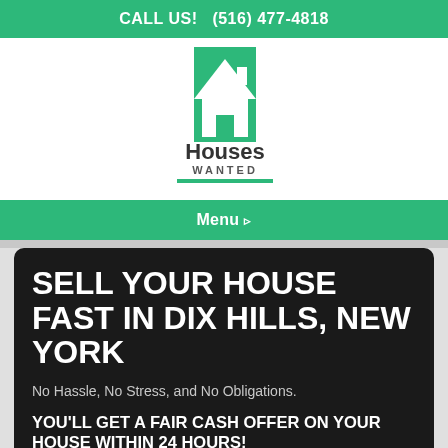CALL US!   (516) 477-4818
[Figure (logo): Houses Wanted logo with green banner top and white house silhouette, text reads Houses WANTED]
Menu ▸
SELL YOUR HOUSE FAST IN DIX HILLS, NEW YORK
No Hassle, No Stress, and No Obligations.
YOU'LL GET A FAIR CASH OFFER ON YOUR HOUSE WITHIN 24 HOURS!
Give us some more information below to get